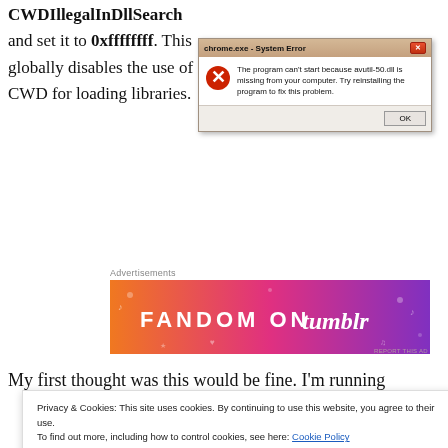CWDIllegalInDllSearch and set it to 0xffffffff. This globally disables the use of CWD for loading libraries.
[Figure (screenshot): Windows System Error dialog box from chrome.exe reading: 'The program can't start because avutil-50.dll is missing from your computer. Try reinstalling the program to fix this problem.' with an OK button.]
Advertisements
[Figure (illustration): Fandom on Tumblr advertisement banner with colorful orange-to-purple gradient background and music/fandom icons.]
My first thought was this would be fine. I'm running
Privacy & Cookies: This site uses cookies. By continuing to use this website, you agree to their use.
To find out more, including how to control cookies, see here: Cookie Policy
Close and accept